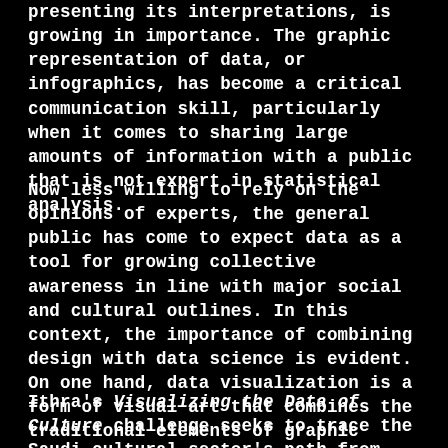presenting its interpretations, is growing in importance. The graphic representation of data, or infographics, has become a critical communication skill, particularly when it comes to sharing large amounts of information with a public that is not expert in statistical analysis.
Now less willing to rely on the opinions of experts, the general public has come to expect data as a tool for growing collective awareness in line with major social and cultural outlines. In this context, the importance of combining design with data science is evident. On one hand, data visualization is a form of visual art that combines the traditional elements of graphic design, such as shape, color, and lines. On the other hand, it is a form of journalism as it is tasked with accurately representing the facts of data in a context of meaning, of interpretation.
Ithra's Visualizing the Data of Culture challenge seeks to trace the Saudi cultural sector's path from the present to an image of the future through the visual interpretation of the